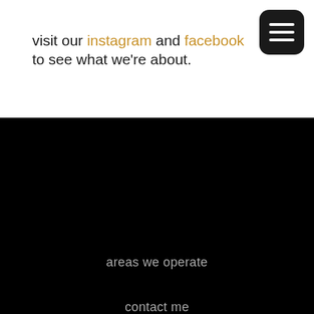visit our instagram and facebook to see what we're about.
areas we operate
contact me
Contact: 26 Greystock Road, Warfield, Berkshire, RG42 2FB
Phone: 07714616110